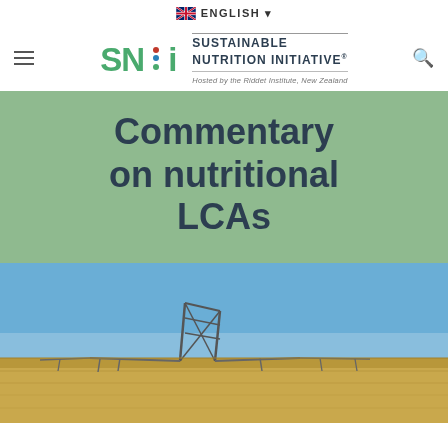ENGLISH
[Figure (logo): SNi Sustainable Nutrition Initiative logo, hosted by the Riddet Institute, New Zealand]
Commentary on nutritional LCAs
[Figure (photo): Agricultural field irrigation system (center pivot) under a clear blue sky over a dry wheat field]